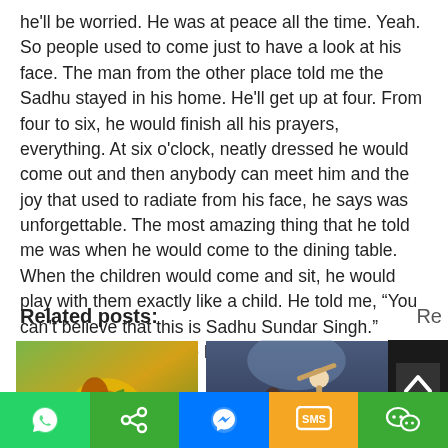he'll be worried. He was at peace all the time. Yeah. So people used to come just to have a look at his face. The man from the other place told me the Sadhu stayed in his home. He'll get up at four. From four to six, he would finish all his prayers, everything. At six o'clock, neatly dressed he would come out and then anybody can meet him and the joy that used to radiate from his face, he says was unforgettable. The most amazing thing that he told me was when he would come to the dining table. When the children would come and sit, he would play with them exactly like a child. He told me, “You can’t believe that this is Sadhu Sundar Singh.” Radiating the joy of the Lord.
Related posts:
[Figure (photo): Thumbnail image of a plant or flower, golden/green colors]
[Figure (photo): Thumbnail image of a figure with arms raised, dramatic painting style]
[Figure (photo): Partial thumbnail image of outdoor/nature scene, green tones]
[Figure (screenshot): Scroll-to-top button, dark background with up chevron icon]
[Figure (infographic): Mobile share bar with WhatsApp, share, Messenger, SMS, and WeChat buttons]